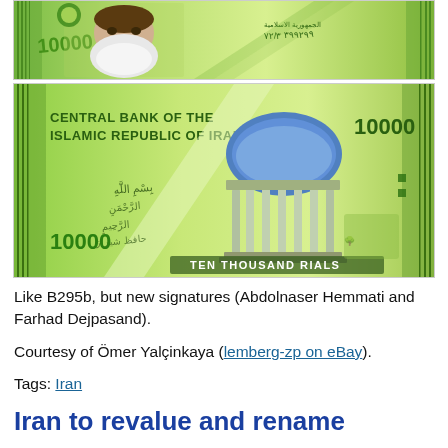[Figure (photo): Front side of an Iranian 10000 Rials banknote showing portrait of an elderly man with white beard, green color scheme, serial number 72/3 399299]
[Figure (photo): Back side of an Iranian 10000 Rials banknote showing a classical columned pavilion (Hafez tomb area), text 'CENTRAL BANK OF THE ISLAMIC REPUBLIC OF IRAN', '10000', 'TEN THOUSAND RIALS', green color scheme]
Like B295b, but new signatures (Abdolnaser Hemmati and Farhad Dejpasand).
Courtesy of Ömer Yalçinkaya (lemberg-zp on eBay).
Tags: Iran
Iran to revalue and rename